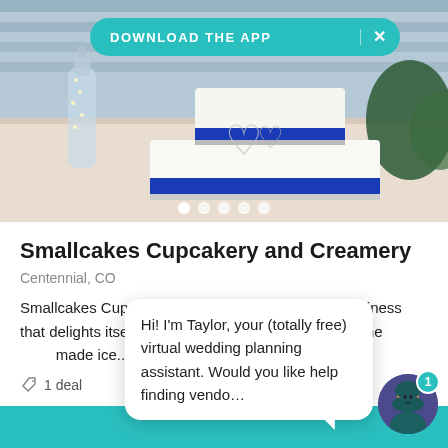[Figure (photo): Wedding cake with blue ribbon and silver heart decorations, with a glass bottle with fairy lights on the left and greenery on the right. A teal 'DOWNLOAD THE APP' banner with an X button overlays the top of the photo. Five pagination dots are visible at the bottom of the photo area.]
Smallcakes Cupcakery and Creamery
Centennial, CO
Smallcakes Cupcakery and Creamery is a small business that delights itself on making cupcakes daily and homemade ice... Read more
1 deal
Hi! I'm Taylor, your (totally free) virtual wedding planning assistant. Would you like help finding vendo...